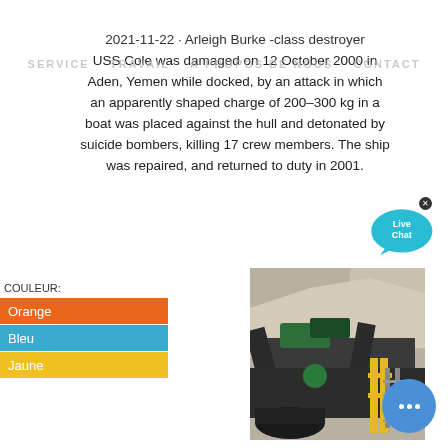SERVICE   TRAVAIL   À PROPOS DE NOUS   CONTACT
2021-11-22 · Arleigh Burke -class destroyer USS Cole was damaged on 12 October 2000 in Aden, Yemen while docked, by an attack in which an apparently shaped charge of 200–300 kg in a boat was placed against the hull and detonated by suicide bombers, killing 17 crew members. The ship was repaired, and returned to duty in 2001.
[Figure (illustration): Live Chat bubble icon with teal speech bubble and text 'Live Chat']
COULEUR:
Orange
Bleu
Jaune
[Figure (photo): Industrial mining/crushing machinery on a hillside, showing conveyor belts, metal structures, and yellow scaffolding]
[Figure (illustration): Blue circular chat button with three white dots]